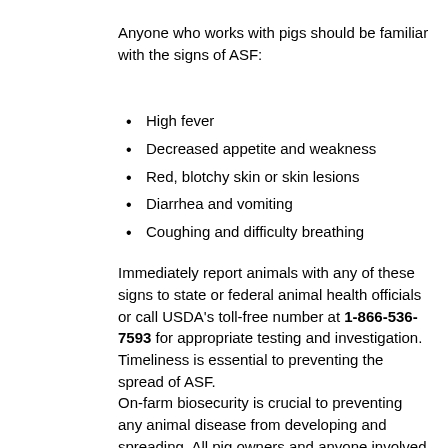Anyone who works with pigs should be familiar with the signs of ASF:
High fever
Decreased appetite and weakness
Red, blotchy skin or skin lesions
Diarrhea and vomiting
Coughing and difficulty breathing
Immediately report animals with any of these signs to state or federal animal health officials or call USDA's toll-free number at 1-866-536-7593 for appropriate testing and investigation. Timeliness is essential to preventing the spread of ASF.
On-farm biosecurity is crucial to preventing any animal disease from developing and spreading. All pig owners and anyone involved with pig operations should know and follow strict biosecurity practices to help protect U.S. pigs from ASF. Work with your veterinarian to assess your biosecurity plans and make improvements as needed.